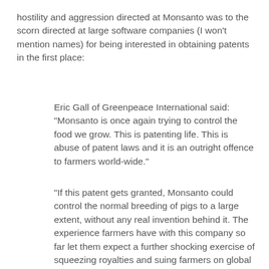hostility and aggression directed at Monsanto was to the scorn directed at large software companies (I won't mention names) for being interested in obtaining patents in the first place:
Eric Gall of Greenpeace International said: "Monsanto is once again trying to control the food we grow. This is patenting life. This is abuse of patent laws and it is an outright offence to farmers world-wide."
"If this patent gets granted, Monsanto could control the normal breeding of pigs to a large extent, without any real invention behind it. The experience farmers have with this company so far let them expect a further shocking exercise of squeezing royalties and suing farmers on global scale," warned Gall. "This patent application is so absurd we wonder what Monsanto will come up with next?"